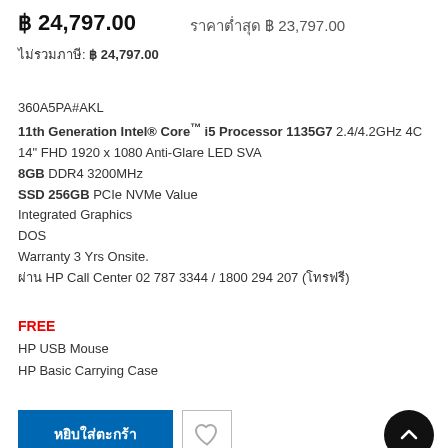฿ 24,797.00
ราคาต่ำสุด ฿ 23,797.00
ไม่รวมภาษี: ฿24,797.00
360A5PA#AKL
11th Generation Intel® Core™ i5 Processor 1135G7 2.4/4.2GHz 4C
14" FHD 1920 x 1080 Anti-Glare LED SVA
8GB DDR4 3200MHz
SSD 256GB PCIe NVMe Value
Integrated Graphics
DOS
Warranty 3 Yrs Onsite.
ผ่าน HP Call Center 02 787 3344 / 1800 294 207 (โทรฟรี)
FREE
HP USB Mouse
HP Basic Carrying Case